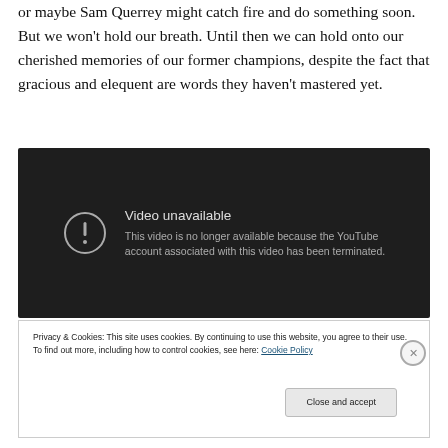or maybe Sam Querrey might catch fire and do something soon. But we won't hold our breath. Until then we can hold onto our cherished memories of our former champions, despite the fact that gracious and elequent are words they haven't mastered yet.
[Figure (screenshot): YouTube video unavailable screen. Dark background with exclamation circle icon and text 'Video unavailable. This video is no longer available because the YouTube account associated with this video has been terminated.']
Privacy & Cookies: This site uses cookies. By continuing to use this website, you agree to their use.
To find out more, including how to control cookies, see here: Cookie Policy